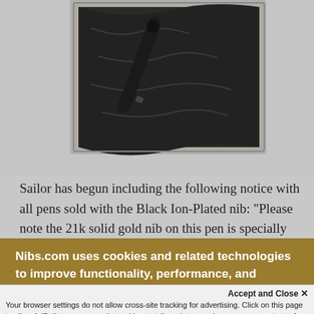[Figure (photo): A dark fountain pen resting on black fabric/cloth inside a gray rectangular box, viewed from above. The pen appears to be black with a metallic band near the nib end.]
Sailor has begun including the following notice with all pens sold with the Black Ion-Plated nib: "Please note the 21k solid gold nib on this pen is specially ion-plated to give the
Nibs.com uses cookies and related technologies to improve functionality, performance, and personalized content. See our Privacy Policy for more information.
Accept and Close ×
Your browser settings do not allow cross-site tracking for advertising. Click on this page to allow AdRoll to use cross-site tracking to tailor ads to you. Learn more or opt out of this AdRoll tracking by clicking here. This message only appears once.